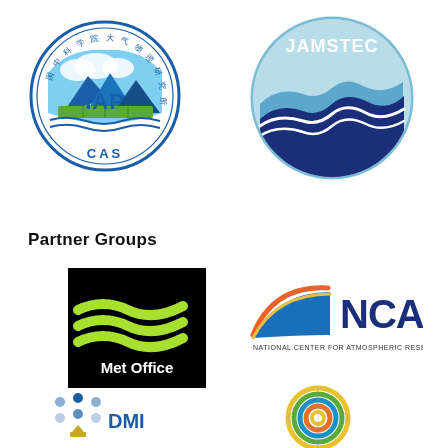[Figure (logo): IAP CAS logo — circular badge with Chinese characters around the rim, mountains and water imagery, 'IAP' in center, 'CAS' at bottom, blue and green colors]
[Figure (logo): JAMSTEC logo — circular badge with 'JAMSTEC' text at top, stylized ocean waves and mountains in blue shades]
Partner Groups
[Figure (logo): Met Office logo — black square background with green wavy lines and 'Met Office' text in white]
[Figure (logo): NCAR logo — National Center for Atmospheric Research, colorful arc swoosh with 'NCAR' large text and 'NATIONAL CENTER FOR ATMOSPHERIC RESEARCH' beneath]
[Figure (logo): DMI logo — Danish Meteorological Institute, small dots and crown symbol with 'DMI' text]
[Figure (logo): Circular multicolored concentric rings logo in yellow, green, blue, orange tones]